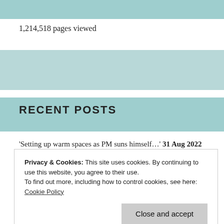1,214,518 pages viewed
RECENT POSTS
'Setting up warm spaces as PM suns himself…' 31 Aug 2022
Planning applications validated by EDDC for week beginning 15 August 31 Aug 2022
Privacy & Cookies: This site uses cookies. By continuing to use this website, you agree to their use. To find out more, including how to control cookies, see here: Cookie Policy
Ukraine, says ex-Tory adviser 31 Aug 2022